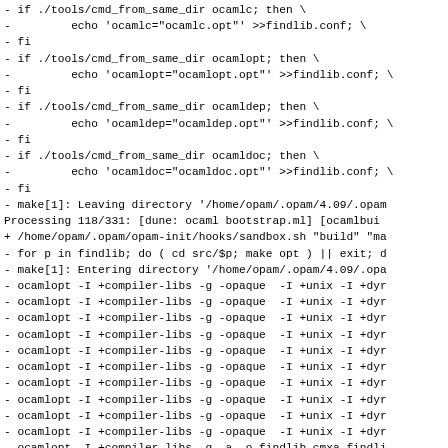- if ./tools/cmd_from_same_dir ocamlc; then \
-         echo 'ocamlc="ocamlc.opt"' >>findlib.conf; \
- fi
- if ./tools/cmd_from_same_dir ocamlopt; then \
-         echo 'ocamlopt="ocamlopt.opt"' >>findlib.conf; \
- fi
- if ./tools/cmd_from_same_dir ocamldep; then \
-         echo 'ocamldep="ocamldep.opt"' >>findlib.conf; \
- fi
- if ./tools/cmd_from_same_dir ocamldoc; then \
-         echo 'ocamldoc="ocamldoc.opt"' >>findlib.conf; \
- fi
- make[1]: Leaving directory '/home/opam/.opam/4.09/.opam
- Processing 118/331: [dune: ocaml bootstrap.ml] [ocamlbui
+ /home/opam/.opam/opam-init/hooks/sandbox.sh "build" "ma
- for p in findlib; do ( cd src/$p; make opt ) || exit; d
- make[1]: Entering directory '/home/opam/.opam/4.09/.opa
- ocamlopt -I +compiler-libs -g -opaque  -I +unix -I +dyr
- ocamlopt -I +compiler-libs -g -opaque  -I +unix -I +dyr
- ocamlopt -I +compiler-libs -g -opaque  -I +unix -I +dyr
- ocamlopt -I +compiler-libs -g -opaque  -I +unix -I +dyr
- ocamlopt -I +compiler-libs -g -opaque  -I +unix -I +dyr
- ocamlopt -I +compiler-libs -g -opaque  -I +unix -I +dyr
- ocamlopt -I +compiler-libs -g -opaque  -I +unix -I +dyr
- ocamlopt -I +compiler-libs -g -opaque  -I +unix -I +dyr
- ocamlopt -I +compiler-libs -g -opaque  -I +unix -I +dyr
- ocamlopt -I +compiler-libs -g -opaque  -I +unix -I +dyr
- ocamlopt -I +compiler-libs -g -a -o findlib.cmxa findli
- if [ 1 -gt 0 ]; then \
-       ocamlopt -I +compiler-libs -g -shared -o findlib.c